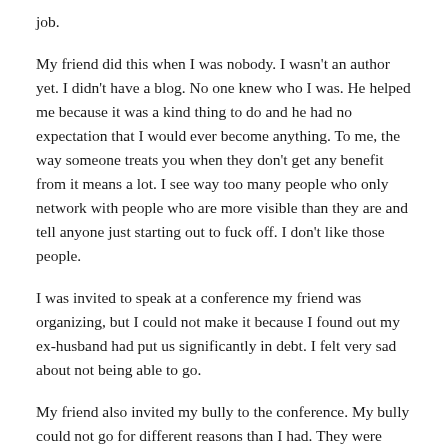job.
My friend did this when I was nobody. I wasn't an author yet. I didn't have a blog. No one knew who I was. He helped me because it was a kind thing to do and he had no expectation that I would ever become anything. To me, the way someone treats you when they don't get any benefit from it means a lot. I see way too many people who only network with people who are more visible than they are and tell anyone just starting out to fuck off. I don't like those people.
I was invited to speak at a conference my friend was organizing, but I could not make it because I found out my ex-husband had put us significantly in debt. I felt very sad about not being able to go.
My friend also invited my bully to the conference. My bully could not go for different reasons than I had. They were very vocal about how unhappy they were with my friend